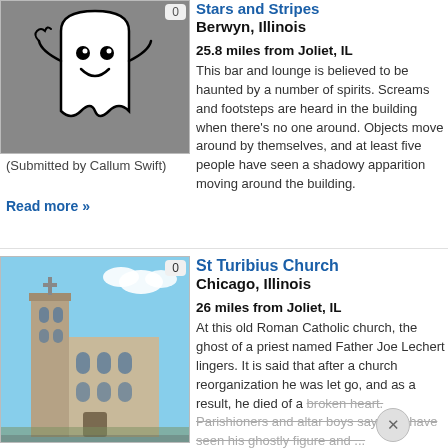[Figure (illustration): Ghost cartoon illustration on grey background]
(Submitted by Callum Swift)
Read more »
Stars and Stripes
Berwyn, Illinois
25.8 miles from Joliet, IL
This bar and lounge is believed to be haunted by a number of spirits. Screams and footsteps are heard in the building when there's no one around. Objects move around by themselves, and at least five people have seen a shadowy apparition moving around the building.
[Figure (photo): Photo of St Turibius Church building exterior in Chicago]
St Turibius Church
Chicago, Illinois
26 miles from Joliet, IL
At this old Roman Catholic church, the ghost of a priest named Father Joe Lechert lingers. It is said that after a church reorganization he was let go, and as a result, he died of a broken heart. Parishioners and altar boys say they have seen his ghostly figure and ...